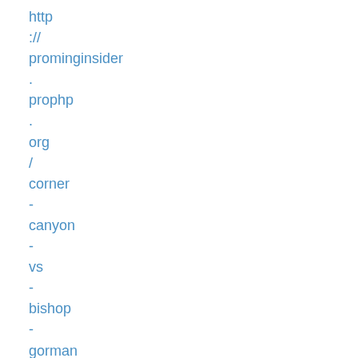http
://
prominginsider
.
prophp
.
org
/
corner
-
canyon
-
vs
-
bishop
-
gorman
-
live
/
http